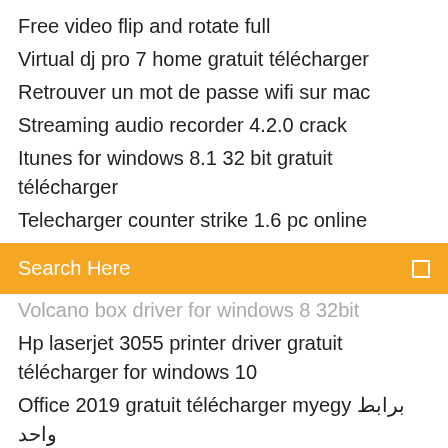Free video flip and rotate full
Virtual dj pro 7 home gratuit télécharger
Retrouver un mot de passe wifi sur mac
Streaming audio recorder 4.2.0 crack
Itunes for windows 8.1 32 bit gratuit télécharger
Telecharger counter strike 1.6 pc online
Search Here
Volcano box driver for windows 8 32bit
Hp laserjet 3055 printer driver gratuit télécharger for windows 10
Office 2019 gratuit télécharger myegy برابط واحد
Dns jumper windows 10 télécharger
Adobe photoshop express pc tutorial
Cobian backup per windows 10 italiano
Calibre convert pdf to epub problem
Comment retrouver son identifiant ipad
Itunes télécharger for windows 10 86 bit
Télécharger application e carte bleue la banque postale